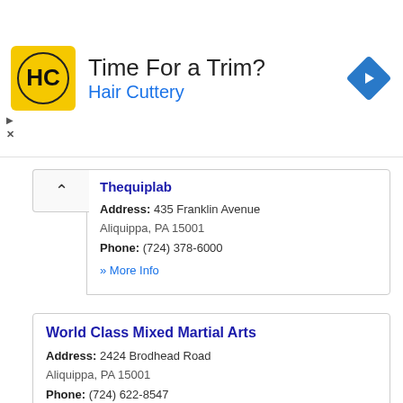[Figure (advertisement): Hair Cuttery ad banner with yellow HC logo, text 'Time For a Trim?' and 'Hair Cuttery', and a blue navigation diamond icon]
Thequiplab
Address: 435 Franklin Avenue
Aliquippa, PA 15001
Phone: (724) 378-6000
» More Info
World Class Mixed Martial Arts
Address: 2424 Brodhead Road
Aliquippa, PA 15001
Phone: (724) 622-8547
» More Info